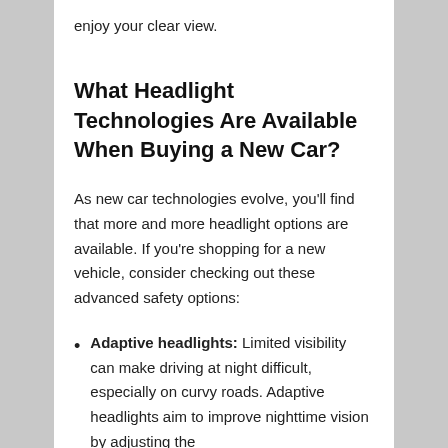enjoy your clear view.
What Headlight Technologies Are Available When Buying a New Car?
As new car technologies evolve, you'll find that more and more headlight options are available. If you're shopping for a new vehicle, consider checking out these advanced safety options:
Adaptive headlights: Limited visibility can make driving at night difficult, especially on curvy roads. Adaptive headlights aim to improve nighttime vision by adjusting the